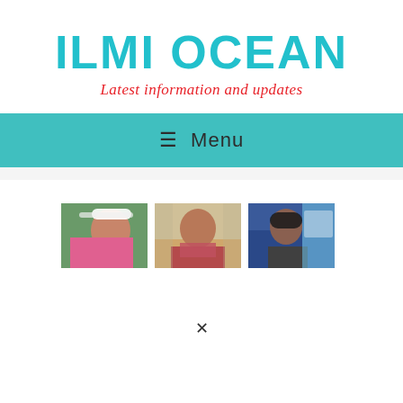ILMI OCEAN
Latest information and updates
≡  Menu
[Figure (photo): Three photos of people: a woman wearing a white sun visor and pink top, a man smiling wearing a red/pink garment, and a woman in dark clothes and cap against a blue background.]